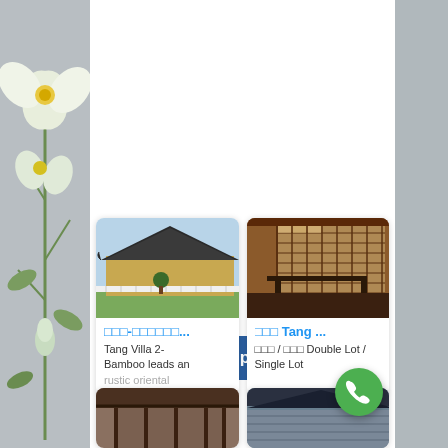[Figure (illustration): Floral/nature decorative background on left side panel with white and yellow flower motifs on grey background]
[Figure (screenshot): WhatsApp to Us button - blue rounded rectangle button with white text]
[Figure (photo): Tang Villa property listing card 1 - Traditional Asian temple/villa exterior with black tiled roof, garden, white railings]
□□□-□□□□□□...
Tang Villa 2- Bamboo leads an rustic oriental
[Figure (photo): Tang Villa property listing card 2 - Interior of traditional Asian building with wooden lattice screens and dark wood furniture]
□□□ Tang ...
□□□ / □□□ Double Lot / Single Lot
[Figure (photo): Third property listing card - partial view of traditional Asian architecture at bottom]
[Figure (photo): Fourth property listing card - partial view of traditional Asian roof/structure at bottom]